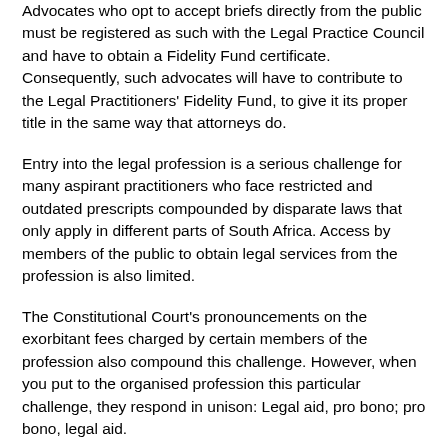Advocates who opt to accept briefs directly from the public must be registered as such with the Legal Practice Council and have to obtain a Fidelity Fund certificate. Consequently, such advocates will have to contribute to the Legal Practitioners' Fidelity Fund, to give it its proper title in the same way that attorneys do.
Entry into the legal profession is a serious challenge for many aspirant practitioners who face restricted and outdated prescripts compounded by disparate laws that only apply in different parts of South Africa. Access by members of the public to obtain legal services from the profession is also limited.
The Constitutional Court's pronouncements on the exorbitant fees charged by certain members of the profession also compound this challenge. However, when you put to the organised profession this particular challenge, they respond in unison: Legal aid, pro bono; pro bono, legal aid.
We want to use this occasion to call on the legal profession to draw together and embrace this Bill to ensure meaningful and proper implementation of all its provisions. A two-year intervening period leading to the establishment of the proposed Legal Practice Council